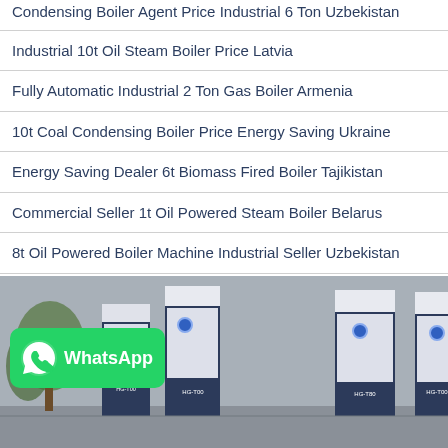Condensing Boiler Agent Price Industrial 6 Ton Uzbekistan
Industrial 10t Oil Steam Boiler Price Latvia
Fully Automatic Industrial 2 Ton Gas Boiler Armenia
10t Coal Condensing Boiler Price Energy Saving Ukraine
Energy Saving Dealer 6t Biomass Fired Boiler Tajikistan
Commercial Seller 1t Oil Powered Steam Boiler Belarus
8t Oil Powered Boiler Machine Industrial Seller Uzbekistan
Hot Products
[Figure (photo): Industrial boilers (white and dark blue tall units labeled HG-T00 and HG-T80) displayed outdoors against a grey wall, with a green WhatsApp badge overlay in the lower-left corner.]